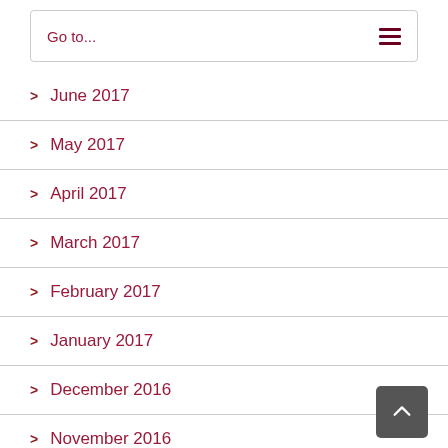Go to...
June 2017
May 2017
April 2017
March 2017
February 2017
January 2017
December 2016
November 2016